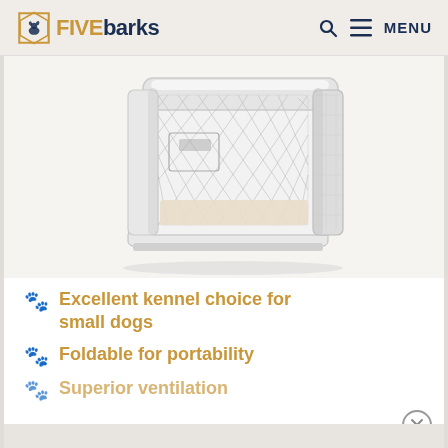FIVEbarks | MENU
[Figure (photo): A modern white and silver foldable dog kennel/crate with mesh wire panels and a cushioned interior, photographed against a light background.]
Excellent kennel choice for small dogs
Foldable for portability
Superior ventilation